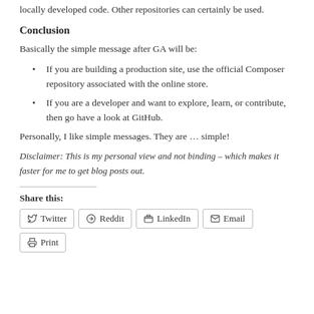locally developed code. Other repositories can certainly be used.
Conclusion
Basically the simple message after GA will be:
If you are building a production site, use the official Composer repository associated with the online store.
If you are a developer and want to explore, learn, or contribute, then go have a look at GitHub.
Personally, I like simple messages. They are … simple!
Disclaimer: This is my personal view and not binding – which makes it faster for me to get blog posts out.
Share this:
Twitter  Reddit  LinkedIn  Email  Print